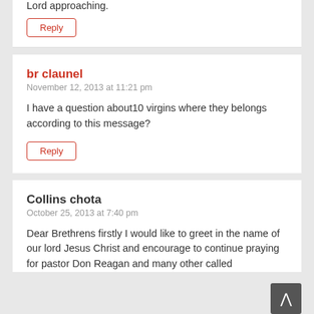Lord approaching.
Reply
br claunel
November 12, 2013 at 11:21 pm
I have a question about10 virgins where they belongs according to this message?
Reply
Collins chota
October 25, 2013 at 7:40 pm
Dear Brethrens firstly I would like to greet in the name of our lord Jesus Christ and encourage to continue praying for pastor Don Reagan and many other called